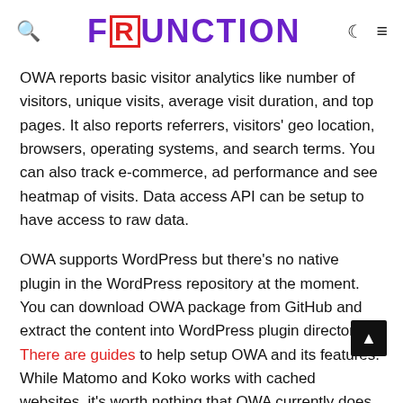FUNCTION (logo with search, moon, and menu icons)
OWA reports basic visitor analytics like number of visitors, unique visits, average visit duration, and top pages. It also reports referrers, visitors' geo location, browsers, operating systems, and search terms. You can also track e-commerce, ad performance and see heatmap of visits. Data access API can be setup to have access to raw data.
OWA supports WordPress but there's no native plugin in the WordPress repository at the moment. You can download OWA package from GitHub and extract the content into WordPress plugin directory. There are guides to help setup OWA and its features. While Matomo and Koko works with cached websites, it's worth nothing that OWA currently does not work with cached pages.
With the set of features Open Web Analytics offers, it can be a